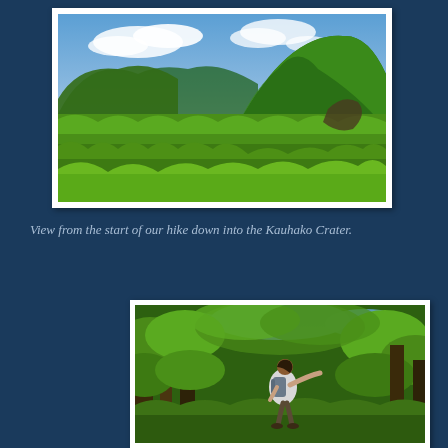[Figure (photo): Landscape view from the start of a hike down into the Kauhako Crater. Shows lush green tropical vegetation in the foreground and a steep green mountain peak under a partly cloudy blue sky.]
View from the start of our hike down into the Kauhako Crater.
[Figure (photo): A hiker with a backpack standing among dense green tropical trees and shrubs, looking upward with one arm outstretched toward the vegetation. Blue sky visible above the canopy.]